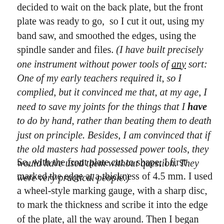decided to wait on the back plate, but the front plate was ready to go, so I cut it out, using my band saw, and smoothed the edges, using the spindle sander and files. (I have built precisely one instrument without power tools of any sort: One of my early teachers required it, so I complied, but it convinced me that, at my age, I need to save my joints for the things that I have to do by hand, rather than beating them to death just on principle. Besides, I am convinced that if the old masters had possessed power tools, they would have used them without question. They were very practical people.)
So, with the front plate cut to shape, I first marked the edge at a thickness of 4.5 mm. I used a wheel-style marking gauge, with a sharp disc, to mark the thickness and scribe it into the edge of the plate, all the way around. Then I began cutting away waste wood to achieve the desired arching shape. I checked a poster (Published